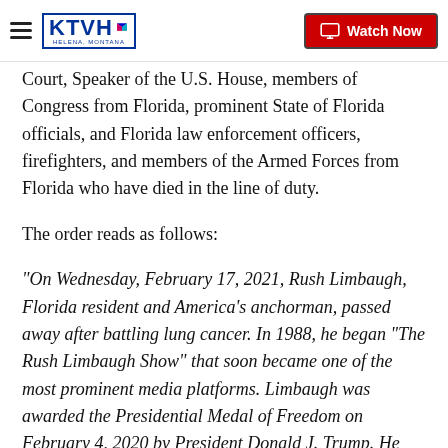KTVH | Watch Now
Court, Speaker of the U.S. House, members of Congress from Florida, prominent State of Florida officials, and Florida law enforcement officers, firefighters, and members of the Armed Forces from Florida who have died in the line of duty.
The order reads as follows:
"On Wednesday, February 17, 2021, Rush Limbaugh, Florida resident and America’s anchorman, passed away after battling lung cancer. In 1988, he began “The Rush Limbaugh Show” that soon became one of the most prominent media platforms. Limbaugh was awarded the Presidential Medal of Freedom on February 4, 2020 by President Donald J. Trump. He held a position in both the National Radio Hall of